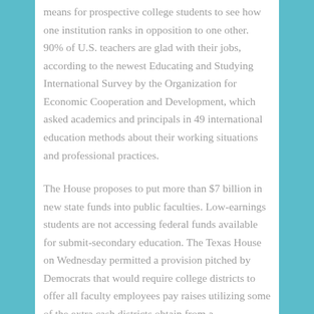means for prospective college students to see how one institution ranks in opposition to one other. 90% of U.S. teachers are glad with their jobs, according to the newest Educating and Studying International Survey by the Organization for Economic Cooperation and Development, which asked academics and principals in 49 international education methods about their working situations and professional practices.

The House proposes to put more than $7 billion in new state funds into public faculties. Low-earnings students are not accessing federal funds available for submit-secondary education. The Texas House on Wednesday permitted a provision pitched by Democrats that would require college districts to offer all faculty employees pay raises utilizing some of the extra cash districts obtain from a comprehensive faculty finance bill.